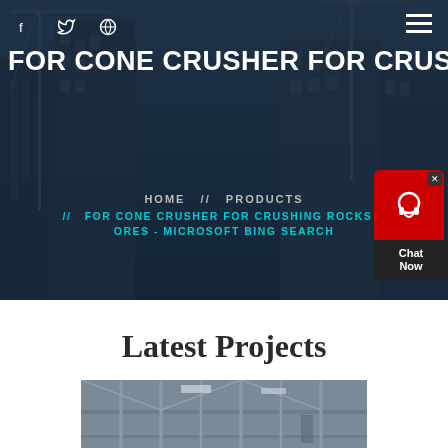[Figure (photo): Hero background: urban construction site with cranes and partially constructed skyscrapers against a dark blue sky, overlaid with a dark semi-transparent layer]
f  ✓  ◎  ≡
FOR CONE CRUSHER FOR CRUSH
HOME  //  PRODUCTS
//  FOR CONE CRUSHER FOR CRUSHING ROCKS A ORES - MICROSOFT BING SEARCH
[Figure (screenshot): Chat widget: red bubble with headset icon, dark box with 'Chat Now' text, close button]
Latest Projects
[Figure (photo): Construction site interior showing steel beams, scaffolding and structural elements, grayscale image]